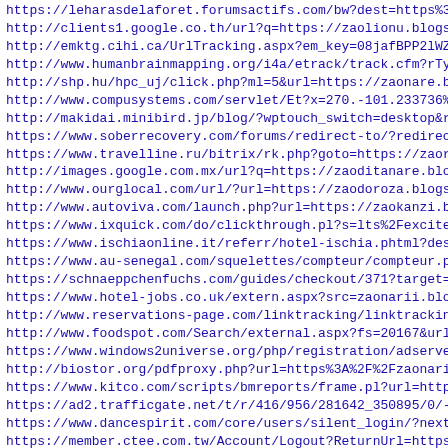https://leharasdelaforet.forumsactifs.com/bw?dest=https%3A%2F%2F
http://clients1.google.co.th/url?q=https://zaolionu.blogspo
http://emktg.cihi.ca/UrlTracking.aspx?em_key=08jafBPP2lWZoO
http://www.humanbrainmapping.org/i4a/etrack/track.cfm?rType
http://shp.hu/hpc_uj/click.php?ml=5&url=https://zaonare.blo
http://www.compusystems.com/servlet/Et?x=270.-101.233736%7C
http://makidai.minibird.jp/blog/?wptouch_switch=desktop&red
https://www.soberrecovery.com/forums/redirect-to/?redirect=
https://www.travelline.ru/bitrix/rk.php?goto=https://zaoran
http://images.google.com.mx/url?q=https://zaoditanare.blogs
http://www.ourglocal.com/url/?url=https://zaodoroza.blogspo
http://www.autoviva.com/launch.php?url=https://zaokanzi.blo
https://www.ixquick.com/do/clickthrough.pl?s=lts%2Fexcite%2
https://www.ischiaonline.it/referr/hotel-ischia.phtml?dest=
https://www.au-senegal.com/squelettes/compteur/compteur.php
https://schnaeppchenfuchs.com/guides/checkout/371?target=ht
https://www.hotel-jobs.co.uk/extern.aspx?src=zaonarii.blogs
http://www.reservations-page.com/linktracking/linktracking.
http://www.foodspot.com/Search/external.aspx?fs=20167&url=/
https://www.windows2universe.org/php/registration/adserve.p
http://biostor.org/pdfproxy.php?url=https%3A%2F%2Fzaonari.b
https://www.kitco.com/scripts/bmreports/frame.pl?url=https:
https://ad2.trafficgate.net/t/r/416/956/281642_350895/0/-/h
https://www.dancespirit.com/core/users/silent_login/?next_u
https://member.ctee.com.tw/Account/Logout?ReturnUrl=https%3
http://go.gomtv.com/rd?link_id=10805&code=SHARE_DREAMWIZ&se
http://acl.tlcdelivers.com/TLCScripts/interpac.dll?ERAccess
http://www.allotments4all.co.uk/smf/index.php?thememode=ful
https://www.sibur.ru/bitrix/rk.php?goto=https://zaonenda.bl
https://LIOMsubapasg.blogspot.com